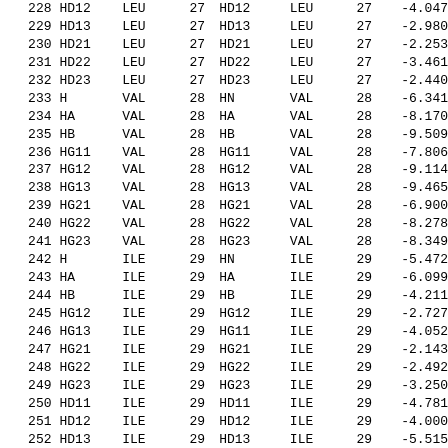| 228 | HD12 | LEU | 27 | HD12 | LEU | 27 | -4.047 |
| 229 | HD13 | LEU | 27 | HD13 | LEU | 27 | -2.980 |
| 230 | HD21 | LEU | 27 | HD21 | LEU | 27 | -2.253 |
| 231 | HD22 | LEU | 27 | HD22 | LEU | 27 | -3.461 |
| 232 | HD23 | LEU | 27 | HD23 | LEU | 27 | -2.440 |
| 233 | H | VAL | 28 | HN | VAL | 28 | -6.341 |
| 234 | HA | VAL | 28 | HA | VAL | 28 | -8.170 |
| 235 | HB | VAL | 28 | HB | VAL | 28 | -9.509 |
| 236 | HG11 | VAL | 28 | HG11 | VAL | 28 | -7.806 |
| 237 | HG12 | VAL | 28 | HG12 | VAL | 28 | -9.114 |
| 238 | HG13 | VAL | 28 | HG13 | VAL | 28 | -9.465 |
| 239 | HG21 | VAL | 28 | HG21 | VAL | 28 | -6.900 |
| 240 | HG22 | VAL | 28 | HG22 | VAL | 28 | -8.278 |
| 241 | HG23 | VAL | 28 | HG23 | VAL | 28 | -8.349 |
| 242 | H | ILE | 29 | HN | ILE | 29 | -5.472 |
| 243 | HA | ILE | 29 | HA | ILE | 29 | -6.099 |
| 244 | HB | ILE | 29 | HB | ILE | 29 | -4.211 |
| 245 | HG12 | ILE | 29 | HG12 | ILE | 29 | -2.727 |
| 246 | HG13 | ILE | 29 | HG11 | ILE | 29 | -4.052 |
| 247 | HG21 | ILE | 29 | HG21 | ILE | 29 | -2.143 |
| 248 | HG22 | ILE | 29 | HG22 | ILE | 29 | -2.492 |
| 249 | HG23 | ILE | 29 | HG23 | ILE | 29 | -3.250 |
| 250 | HD11 | ILE | 29 | HD11 | ILE | 29 | -4.781 |
| 251 | HD12 | ILE | 29 | HD12 | ILE | 29 | -4.000 |
| 252 | HD13 | ILE | 29 | HD13 | ILE | 29 | -5.515 |
| 253 | H | LEU | 30 | HN | LEU | 30 | -4.605 |
| 254 | HA | LEU | 30 | HA | LEU | 30 | -3.695 |
| 255 | HB2 | LEU | 30 | HB2 | LEU | 30 | -4.732 |
| 256 | HB3 | LEU | 30 | HB1 | LEU | 30 | -4.003 |
| 257 | HG | LEU | 30 | HG | LEU | 30 | -2.620 |